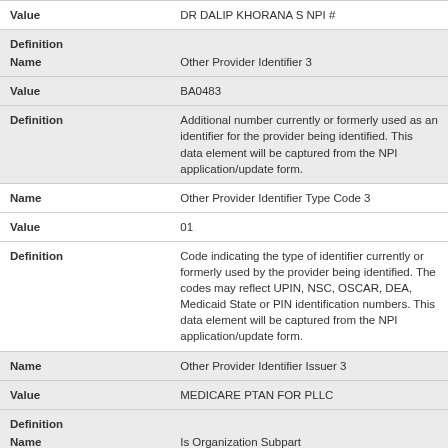| Field | Value |
| --- | --- |
| Value | DR DALIP KHORANA S NPI # |
| Definition Name | Other Provider Identifier 3 |
| Value | BA0483 |
| Definition | Additional number currently or formerly used as an identifier for the provider being identified. This data element will be captured from the NPI application/update form. |
| Name | Other Provider Identifier Type Code 3 |
| Value | 01 |
| Definition | Code indicating the type of identifier currently or formerly used by the provider being identified. The codes may reflect UPIN, NSC, OSCAR, DEA, Medicaid State or PIN identification numbers. This data element will be captured from the NPI application/update form. |
| Name | Other Provider Identifier Issuer 3 |
| Value | MEDICARE PTAN FOR PLLC |
| Definition Name | Is Organization Subpart |
| Value | N |
| Definition |  |